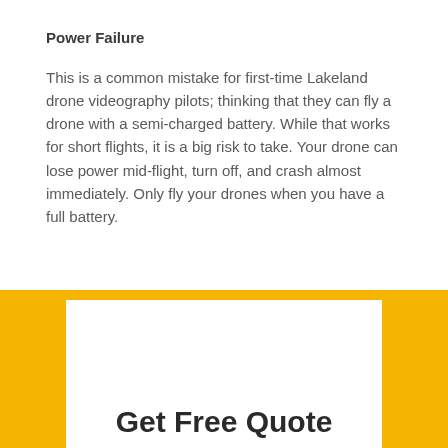Power Failure
This is a common mistake for first-time Lakeland drone videography pilots; thinking that they can fly a drone with a semi-charged battery. While that works for short flights, it is a big risk to take. Your drone can lose power mid-flight, turn off, and crash almost immediately. Only fly your drones when you have a full battery.
Get Free Quote